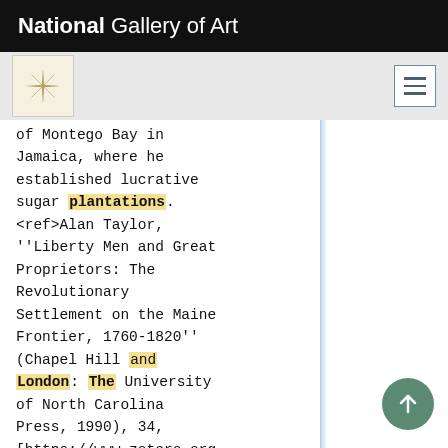National Gallery of Art
of Montego Bay in Jamaica, where he established lucrative sugar plantations. <ref>Alan Taylor, ''Liberty Men and Great Proprietors: The Revolutionary Settlement on the Maine Frontier, 1760-1820'' (Chapel Hill and London: The University of North Carolina Press, 1990), 34, [https://www.zotero.org/groups/54737/items/itemKey/R76N7T3F view on Zotero]</ref> Vaughan